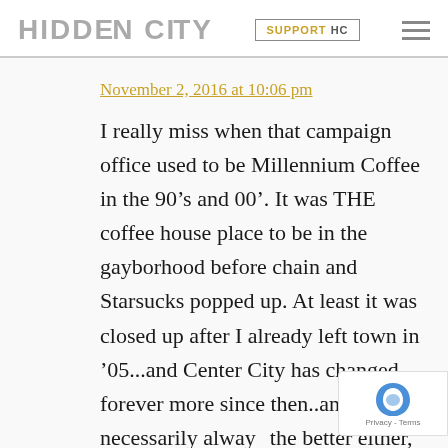HIDDEN CITY | SUPPORT HC
November 2, 2016 at 10:06 pm
I really miss when that campaign office used to be Millennium Coffee in the 90’s and 00’. It was THE coffee house place to be in the gayborhood before chain and Starsucks popped up. At least it was closed up after I already left town in ’05...and Center City has changed forever more since then..and no necessarily always the better either, especially price